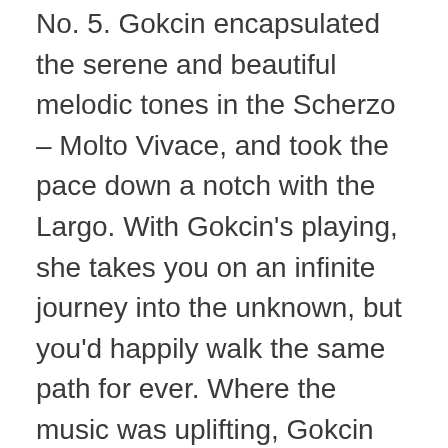No. 5. Gokcin encapsulated the serene and beautiful melodic tones in the Scherzo – Molto Vivace, and took the pace down a notch with the Largo. With Gokcin's playing, she takes you on an infinite journey into the unknown, but you'd happily walk the same path for ever. Where the music was uplifting, Gokcin maintained the energy and where the notes needed emotional stock, Gorkin intimately fused with the music.
Interestingly, despite the more relaxed atmosphere, no one in the audience applauded between movements. Here was another of the very few concerts that